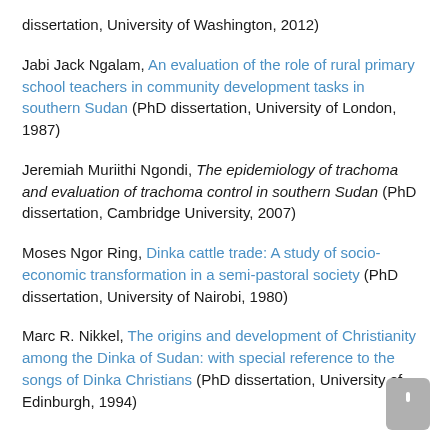dissertation, University of Washington, 2012)
Jabi Jack Ngalam, An evaluation of the role of rural primary school teachers in community development tasks in southern Sudan (PhD dissertation, University of London, 1987)
Jeremiah Muriithi Ngondi, The epidemiology of trachoma and evaluation of trachoma control in southern Sudan (PhD dissertation, Cambridge University, 2007)
Moses Ngor Ring, Dinka cattle trade: A study of socio-economic transformation in a semi-pastoral society (PhD dissertation, University of Nairobi, 1980)
Marc R. Nikkel, The origins and development of Christianity among the Dinka of Sudan: with special reference to the songs of Dinka Christians (PhD dissertation, University of Edinburgh, 1994)